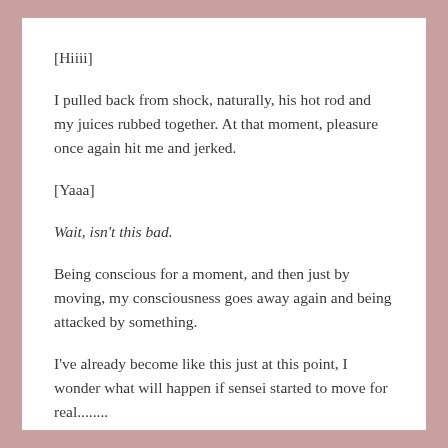[Hiiii]
I pulled back from shock, naturally, his hot rod and my juices rubbed together. At that moment, pleasure once again hit me and jerked.
[Yaaa]
Wait, isn't this bad.
Being conscious for a moment, and then just by moving, my consciousness goes away again and being attacked by something.
I've already become like this just at this point, I wonder what will happen if sensei started to move for real........
[Se, sensei......]